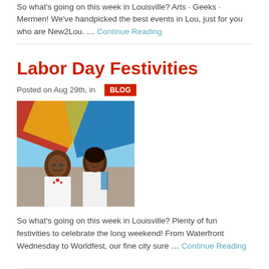So what's going on this week in Louisville? Arts · Geeks · Mermen! We've handpicked the best events in Lou, just for you who are New2Lou. … Continue Reading
Labor Day Festivities
Posted on Aug 29th, in  BLOG
[Figure (photo): Two women in traditional white dress at an outdoor festival, with colorful red, blue, and yellow fabric/kite visible above them.]
So what's going on this week in Louisville? Plenty of fun festivities to celebrate the long weekend! From Waterfront Wednesday to Worldfest, our fine city sure … Continue Reading